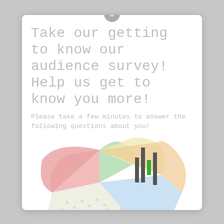Take our getting to know our audience survey! Help us get to know you more!
Please take a few minutes to answer the following questions about you!
[Figure (pie-chart): A decorative hand-drawn style pie chart with five colored segments: pink/red, green, yellow/cream, blue, and white/dotted, partially visible at the bottom of the modal dialog.]